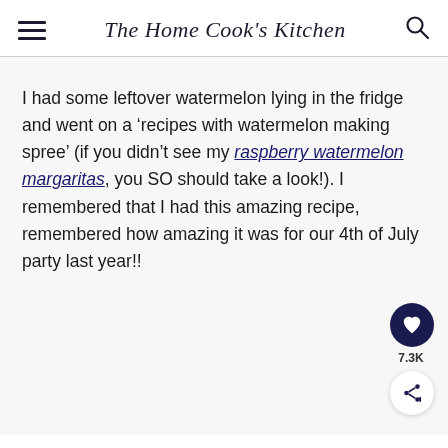The Home Cook's Kitchen
I had some leftover watermelon lying in the fridge and went on a ‘recipes with watermelon making spree’ (if you didn’t see my raspberry watermelon margaritas, you SO should take a look!). I remembered that I had this amazing recipe, remembered how amazing it was for our 4th of July party last year!!